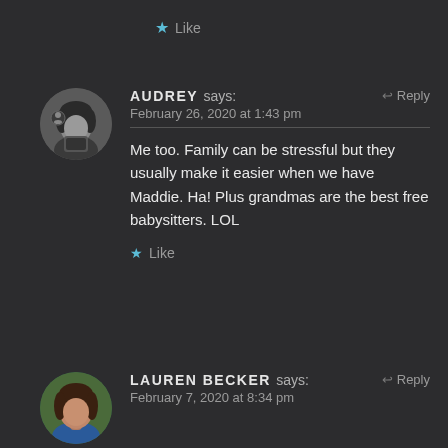★ Like
AUDREY says: February 26, 2020 at 1:43 pm — Me too. Family can be stressful but they usually make it easier when we have Maddie. Ha! Plus grandmas are the best free babysitters. LOL
★ Like
LAUREN BECKER says: February 7, 2020 at 8:34 pm